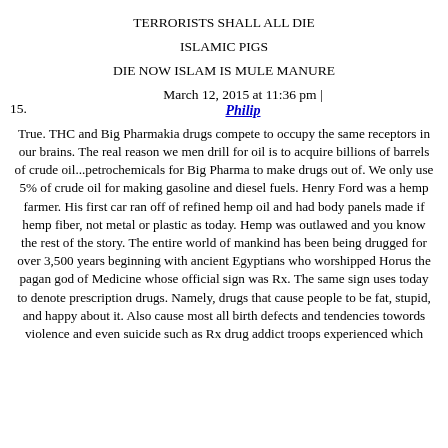TERRORISTS SHALL ALL DIE
ISLAMIC PIGS
DIE NOW ISLAM IS MULE MANURE
March 12, 2015 at 11:36 pm | Philip
True. THC and Big Pharmakia drugs compete to occupy the same receptors in our brains. The real reason we men drill for oil is to acquire billions of barrels of crude oil...petrochemicals for Big Pharma to make drugs out of. We only use 5% of crude oil for making gasoline and diesel fuels. Henry Ford was a hemp farmer. His first car ran off of refined hemp oil and had body panels made if hemp fiber, not metal or plastic as today. Hemp was outlawed and you know the rest of the story. The entire world of mankind has been being drugged for over 3,500 years beginning with ancient Egyptians who worshipped Horus the pagan god of Medicine whose official sign was Rx. The same sign uses today to denote prescription drugs. Namely, drugs that cause people to be fat, stupid, and happy about it. Also cause most all birth defects and tendencies towords violence and even suicide such as Rx drug addict troops experienced which